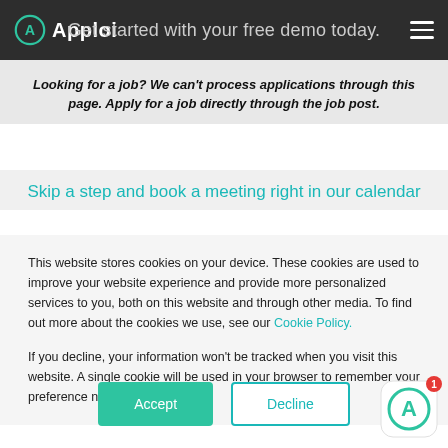Get started with your free demo today.
Looking for a job? We can't process applications through this page. Apply for a job directly through the job post.
Skip a step and book a meeting right in our calendar
This website stores cookies on your device. These cookies are used to improve your website experience and provide more personalized services to you, both on this website and through other media. To find out more about the cookies we use, see our Cookie Policy.
If you decline, your information won't be tracked when you visit this website. A single cookie will be used in your browser to remember your preference not to be tracked.
Accept
Decline